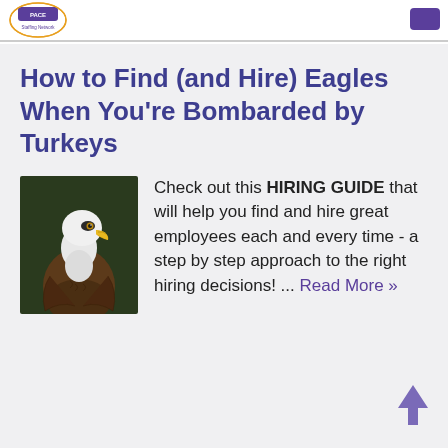PACE Staffing Network
How to Find (and Hire) Eagles When You’re Bombarded by Turkeys
[Figure (photo): Photograph of a bald eagle with white head and yellow beak, brown body, facing right, against a dark green background.]
Check out this HIRING GUIDE that will help you find and hire great employees each and every time - a step by step approach to the right hiring decisions! ... Read More »